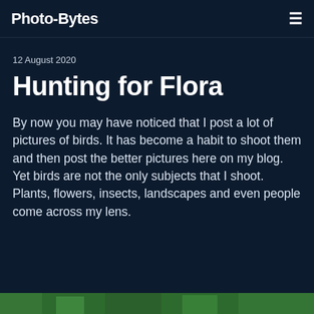Photo-Bytes
12 August 2020
Hunting for Flora
By now you may have noticed that I post a lot of pictures of birds. It has become a habit to shoot them and then post the better pictures here on my blog. Yet birds are not the only subjects that I shoot. Plants, flowers, insects, landscapes and even people come across my lens.
[Figure (photo): Green foliage/plant photograph visible at the bottom of the page]